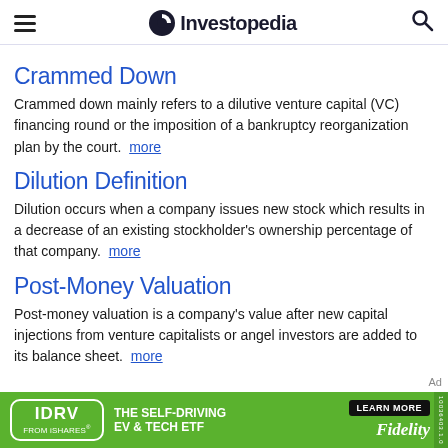Investopedia
Crammed Down
Crammed down mainly refers to a dilutive venture capital (VC) financing round or the imposition of a bankruptcy reorganization plan by the court. more
Dilution Definition
Dilution occurs when a company issues new stock which results in a decrease of an existing stockholder's ownership percentage of that company. more
Post-Money Valuation
Post-money valuation is a company's value after new capital injections from venture capitalists or angel investors are added to its balance sheet. more
[Figure (other): Advertisement banner for IDRV from iShares - The Self-Driving EV & Tech ETF, with Fidelity branding and Learn More button]